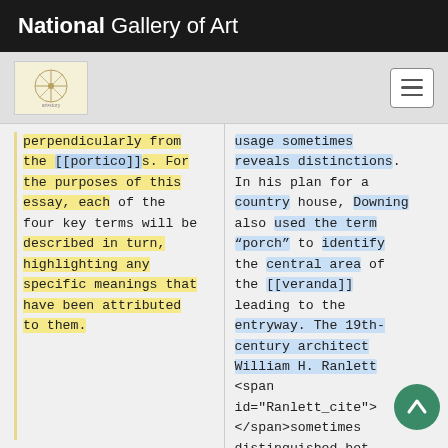National Gallery of Art
perpendicularly from the [[portico]]s. For the purposes of this essay, each of the four key terms will be described in turn, highlighting any specific meanings that have been attributed to them.
usage sometimes reveals distinctions. In his plan for a country house, Downing also used the term “porch” to identify the central area of the [[veranda]] leading to the entryway. The 19th-century architect William H. Ranlett <span id="Ranlett_cite"> </span>sometimes distinguished bet [[piazza]] and